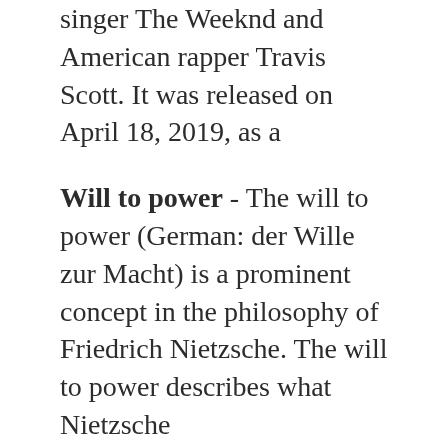singer The Weeknd and American rapper Travis Scott. It was released on April 18, 2019, as a
Will to power - The will to power (German: der Wille zur Macht) is a prominent concept in the philosophy of Friedrich Nietzsche. The will to power describes what Nietzsche
Will Power - William Steven "Will" Power (born 1 March 1981) is an Australian champion motorsports driver who currently competes in the IndyCar Series, driving for
Power of 10 - a power of 10 is any of the integer powers of the number ten; in other